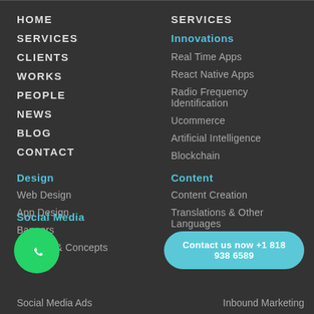HOME
SERVICES
CLIENTS
WORKS
PEOPLE
NEWS
BLOG
CONTACT
SERVICES
Innovations
Real Time Apps
React Native Apps
Radio Frequency Identification
Ucommerce
Artificial Intelligence
Blockchain
Design
Web Design
App Design
Banners
Ideation & Concepts
Content
Content Creation
Translations & Other Languages
Copywriting
[Figure (logo): WhatsApp button - green circular icon with phone handset]
Contact us now +1 818 938 6589
Social Media
Social Media Ads
Inbound Marketing